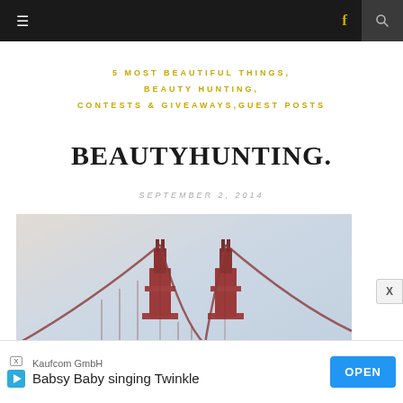≡   f   🔍
5 MOST BEAUTIFUL THINGS, BEAUTY HUNTING, CONTESTS & GIVEAWAYS, GUEST POSTS
BEAUTYHUNTING.
SEPTEMBER 2, 2014
[Figure (photo): Golden Gate Bridge tower with cables against a misty light blue-grey sky and pale background]
Kaufcom GmbH
Babsy Baby singing Twinkle
OPEN